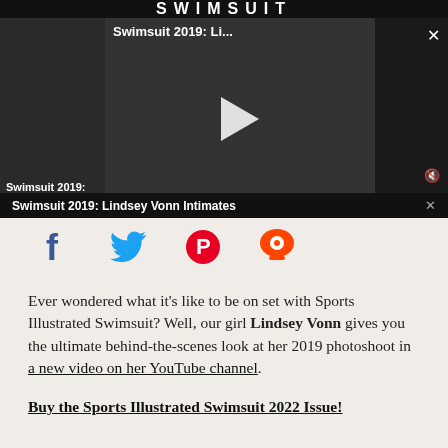SWIMSUIT
[Figure (screenshot): Video player overlay showing Swimsuit 2019: Li... with a woman lying down, play button in center, close X and mute icons on right, left thumbnail strip showing 'Swimsuit 2019:' label]
Swimsuit 2019: Lindsey Vonn Intimates
[Figure (infographic): Social share icons: Facebook (blue f), Twitter (blue bird), Pinterest (red P), Reddit (orange alien)]
Ever wondered what it’s like to be on set with Sports Illustrated Swimsuit? Well, our girl Lindsey Vonn gives you the ultimate behind-the-scenes look at her 2019 photoshoot in a new video on her YouTube channel.
Buy the Sports Illustrated Swimsuit 2022 Issue!